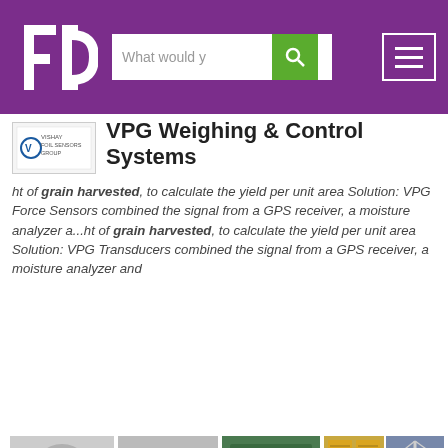[Figure (screenshot): Navigation header bar with FD logo (white F and D letters on purple background), search bar with 'What would y' placeholder text, green search button with magnifying glass icon, and hamburger menu icon on the right]
[Figure (logo): VPG Weighing & Control Systems company logo - small badge with V symbol]
VPG Weighing & Control Systems
ht of grain harvested, to calculate the yield per unit area Solution: VPG Force Sensors combined the signal from a GPS receiver, a moisture analyzer a...ht of grain harvested, to calculate the yield per unit area Solution: VPG Transducers combined the signal from a GPS receiver, a moisture analyzer and
[Figure (photo): Gray cylindrical load cell / force sensor with cable]
[Figure (photo): Gray load cell / force sensor on mounting bracket]
[Figure (photo): Green circuit board with electronic weighing display modules]
[Figure (photo): Gold-colored strain gauge sensors arranged in grid]
[Figure (photo): Industrial crane or tower structure against blue sky]
[Figure (photo): Orange/copper colored strain gauge or sensor component]
Visit website
Company details